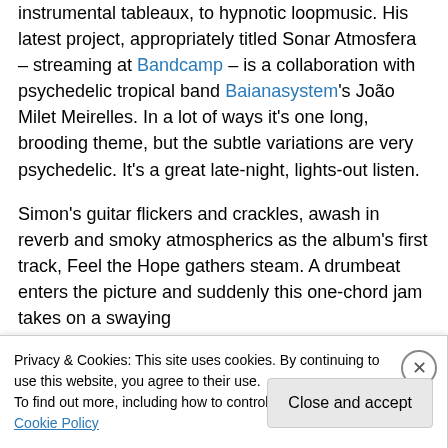instrumental tableaux, to hypnotic loopmusic. His latest project, appropriately titled Sonar Atmosfera – streaming at Bandcamp – is a collaboration with psychedelic tropical band Baianasystem's João Milet Meirelles. In a lot of ways it's one long, brooding theme, but the subtle variations are very psychedelic. It's a great late-night, lights-out listen.
Simon's guitar flickers and crackles, awash in reverb and smoky atmospherics as the album's first track, Feel the Hope gathers steam. A drumbeat enters the picture and suddenly this one-chord jam takes on a swaying
Privacy & Cookies: This site uses cookies. By continuing to use this website, you agree to their use.
To find out more, including how to control cookies, see here: Cookie Policy